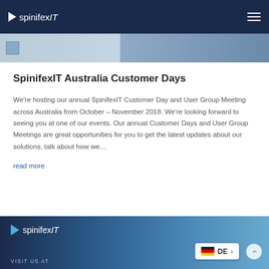spinifexIT
[Figure (photo): Partial top image strip showing a SpinifexIT event banner]
SpinifexIT Australia Customer Days
We're hosting our annual SpinifexIT Customer Day and User Group Meeting across Australia from October – November 2018. We're looking forward to seeing you at one of our events. Our annual Customer Days and User Group Meetings are great opportunities for you to get the latest updates about our solutions, talk about how we...
read more
[Figure (photo): Bottom partial image of SpinifexIT event banner with logo and language selector showing DE (German flag)]